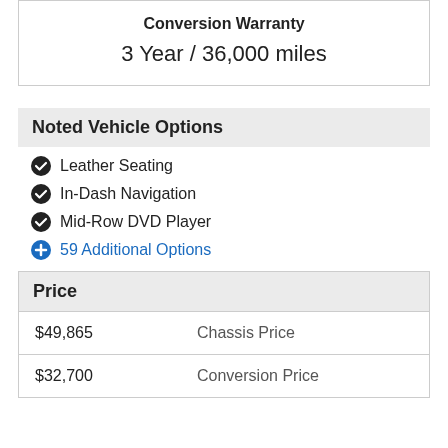| Conversion Warranty |
| --- |
| 3 Year / 36,000 miles |
Noted Vehicle Options
Leather Seating
In-Dash Navigation
Mid-Row DVD Player
59 Additional Options
Price
| Price | Label |
| --- | --- |
| $49,865 | Chassis Price |
| $32,700 | Conversion Price |